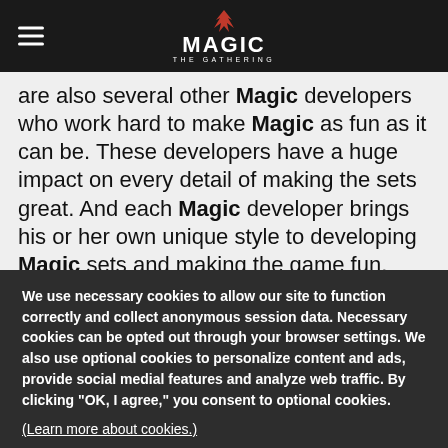Magic: The Gathering
are also several other Magic developers who work hard to make Magic as fun as it can be. These developers have a huge impact on every detail of making the sets great. And each Magic developer brings his or her own unique style to developing Magic sets and making the game fun.

This week I'd like to introduce you to the other
We use necessary cookies to allow our site to function correctly and collect anonymous session data. Necessary cookies can be opted out through your browser settings. We also use optional cookies to personalize content and ads, provide social medial features and analyze web traffic. By clicking "OK, I agree," you consent to optional cookies. (Learn more about cookies.)
OK, I agree   No, thanks